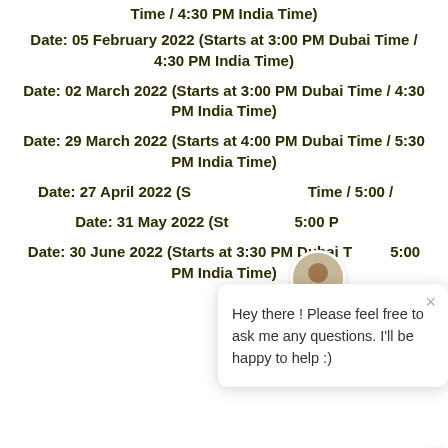Time / 4:30 PM India Time)
Date: 05 February 2022 (Starts at 3:00 PM Dubai Time / 4:30 PM India Time)
Date: 02 March 2022 (Starts at 3:00 PM Dubai Time / 4:30 PM India Time)
Date: 29 March 2022 (Starts at 4:00 PM Dubai Time / 5:30 PM India Time)
Date: 27 April 2022 (Starts at ... Time / 5:00 / ...)
Date: 31 May 2022 (Starts at ... 5:00 PM ...)
Date: 30 June 2022 (Starts at 3:30 PM Dubai Time / 5:00 PM India Time)
[Figure (screenshot): Chat popup overlay with avatar of a man, close button (×), and message: Hey there ! Please feel free to ask me any questions. I'll be happy to help :). Blue circular chat button in bottom right corner.]